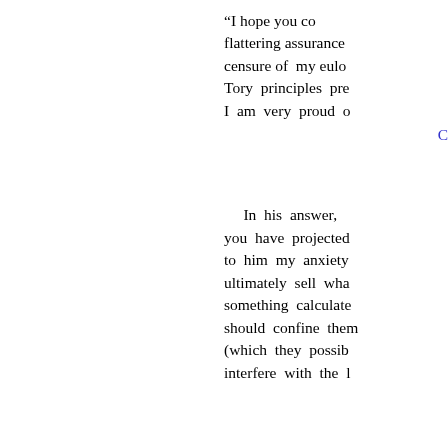“I hope you co… flattering assurance … censure of my eulo… Tory principles pre… I am very proud o…
C…
In his answer, … you have projected … to him my anxiety … ultimately sell wha… something calculate… should confine them… (which they possib… interfere with the l…